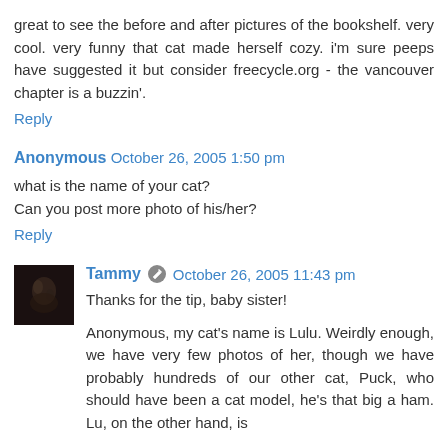great to see the before and after pictures of the bookshelf. very cool. very funny that cat made herself cozy. i'm sure peeps have suggested it but consider freecycle.org - the vancouver chapter is a buzzin'.
Reply
Anonymous  October 26, 2005 1:50 pm
what is the name of your cat?
Can you post more photo of his/her?
Reply
[Figure (photo): Small dark avatar photo of Tammy]
Tammy  October 26, 2005 11:43 pm
Thanks for the tip, baby sister!
Anonymous, my cat's name is Lulu. Weirdly enough, we have very few photos of her, though we have probably hundreds of our other cat, Puck, who should have been a cat model, he's that big a ham. Lu, on the other hand, is